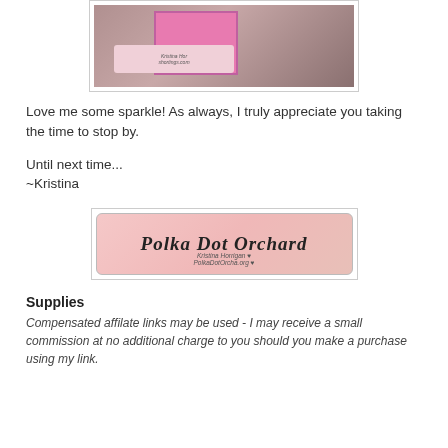[Figure (photo): Partial photo of a pink greeting card with a floral banner tag and Kristina Hor branding, shown on a wooden surface]
Love me some sparkle!  As always, I truly appreciate you taking the time to stop by.
Until next time...
~Kristina
[Figure (logo): Polka Dot Orchard logo banner with script text on a pink watercolor background]
Supplies
Compensated affilate links may be used - I may receive a small commission at no additional charge to you should you make a purchase using my link.